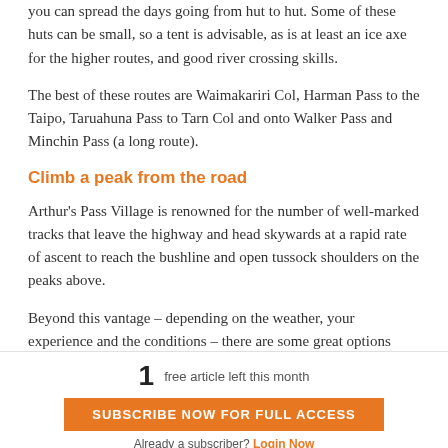you can spread the days going from hut to hut. Some of these huts can be small, so a tent is advisable, as is at least an ice axe for the higher routes, and good river crossing skills.
The best of these routes are Waimakariri Col, Harman Pass to the Taipo, Taruahuna Pass to Tarn Col and onto Walker Pass and Minchin Pass (a long route).
Climb a peak from the road
Arthur’s Pass Village is renowned for the number of well-marked tracks that leave the highway and head skywards at a rapid rate of ascent to reach the bushline and open tussock shoulders on the peaks above.
Beyond this vantage – depending on the weather, your experience and the conditions – there are some great options
1 free article left this month
SUBSCRIBE NOW FOR FULL ACCESS
Already a subscriber? Login Now